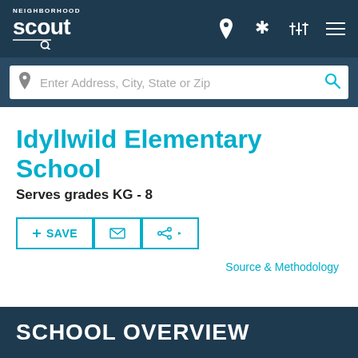Neighborhood Scout - navigation bar with logo, location pin, star, settings, and menu icons
Enter Address, City, State or Zip
Idyllwild Elementary School
Serves grades KG - 8
+ SAVE | email | share
Source & Methodology
SCHOOL OVERVIEW